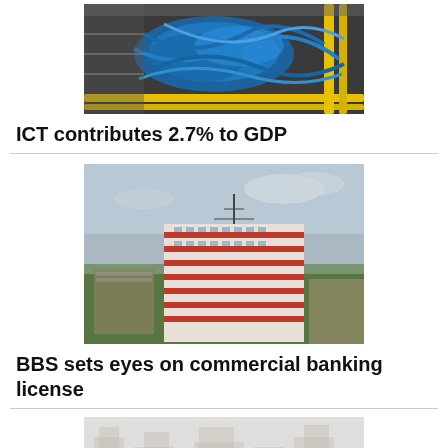[Figure (photo): Close-up photo of tangled blue network cables and yellow cables on a tray]
ICT contributes 2.7% to GDP
[Figure (photo): Aerial photo of a multi-story red and white brick building (BBS) surrounded by trees and cityscape]
BBS sets eyes on commercial banking license
[Figure (photo): Partially visible photo of a city skyline, faded/light]